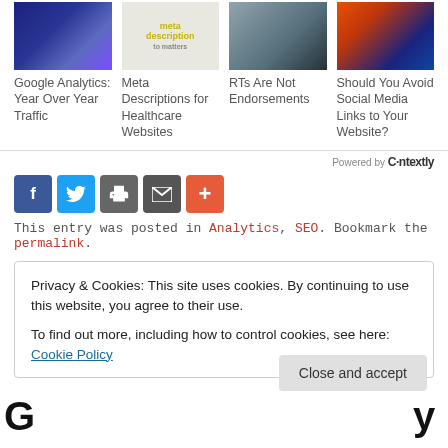[Figure (photo): Four article thumbnail images in a row: Google Analytics chart, Meta Descriptions book cover, person holding phone, city network image]
Google Analytics: Year Over Year Traffic
Meta Descriptions for Healthcare Websites
RTs Are Not Endorsements
Should You Avoid Social Media Links to Your Website?
Powered by Contextly
[Figure (infographic): Social share buttons: Facebook, Twitter, Print, Email, Plus]
This entry was posted in Analytics, SEO. Bookmark the permalink.
Privacy & Cookies: This site uses cookies. By continuing to use this website, you agree to their use. To find out more, including how to control cookies, see here: Cookie Policy
Close and accept